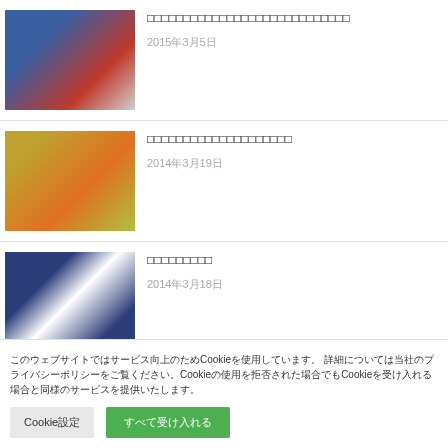[Figure (photo): Two people in blue and red jackets, appearing to be at a winter sports event]
□□□□□□□□□□□□□□□□□□□□□
2015年3月5日
[Figure (photo): Table with Russian nesting dolls (matryoshka) and food items]
□□□□□□□□□□□□□□□□□□□
2014年3月19日
[Figure (photo): Four people in wheelchairs wearing dark uniforms with medals]
□□□□□□□□□
2014年3月18日
[Figure (photo): Partial image, partially visible at bottom]
□□□□□□□□□□□□□□□□□□□□□10k□□□□
このウェブサイトではサービス向上のためCookieを使用しています。 詳細については当社のプライバシーポリシーをご覧ください。Cookieの使用を拒否された場合でもCookieを受け入れる場合と同様のサービスを提供いたします。
Cookie設定
すべて受け入れる